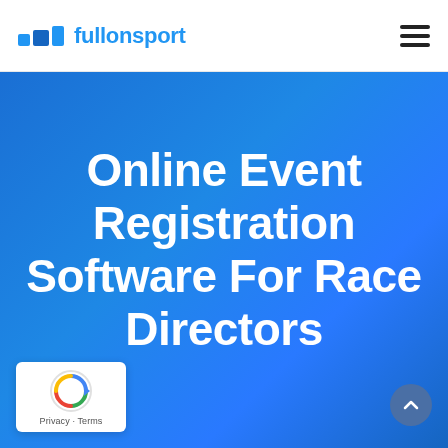fullonsport
Online Event Registration Software For Race Directors
[Figure (logo): reCAPTCHA badge with Privacy - Terms text]
[Figure (other): Scroll-to-top button with upward arrow]